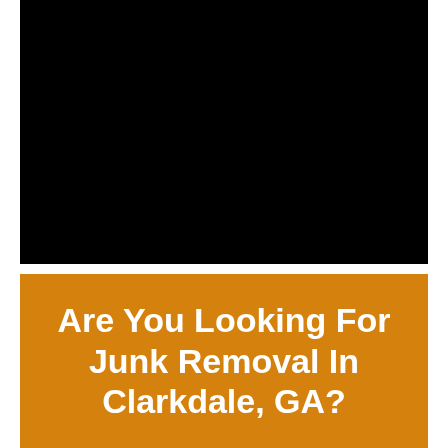[Figure (photo): A large black rectangle representing a photo or video thumbnail (content is completely black/unavailable).]
Are You Looking For Junk Removal In Clarkdale, GA?